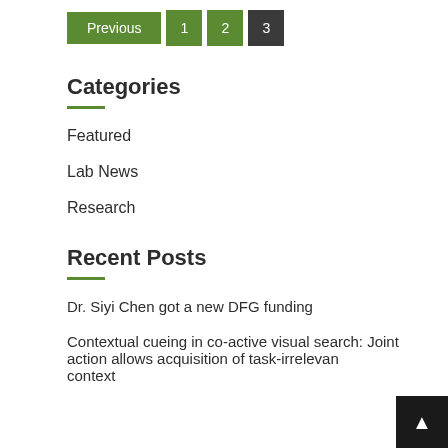Previous 1 2 3
Categories
Featured
Lab News
Research
Recent Posts
Dr. Siyi Chen got a new DFG funding
Contextual cueing in co-active visual search: Joint action allows acquisition of task-irrelevant context